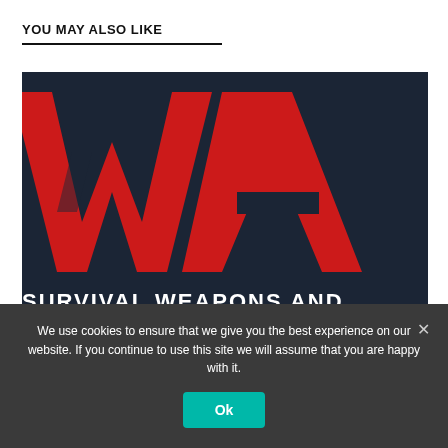YOU MAY ALSO LIKE
[Figure (logo): Partial view of a logo on a dark navy background with large red letters 'WA' and white text below reading 'SURVIVAL WEAPONS AND']
We use cookies to ensure that we give you the best experience on our website. If you continue to use this site we will assume that you are happy with it.